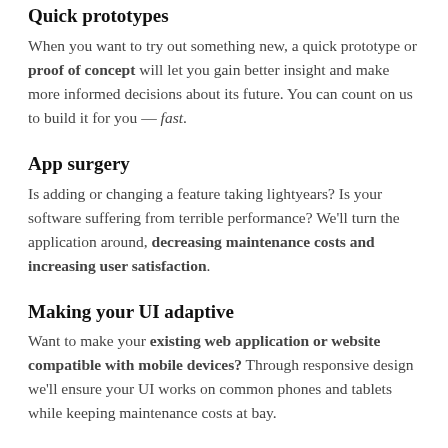Quick prototypes
When you want to try out something new, a quick prototype or proof of concept will let you gain better insight and make more informed decisions about its future. You can count on us to build it for you — fast.
App surgery
Is adding or changing a feature taking lightyears? Is your software suffering from terrible performance? We'll turn the application around, decreasing maintenance costs and increasing user satisfaction.
Making your UI adaptive
Want to make your existing web application or website compatible with mobile devices? Through responsive design we'll ensure your UI works on common phones and tablets while keeping maintenance costs at bay.
Consulting
Need help in managing your codebase or instilling best